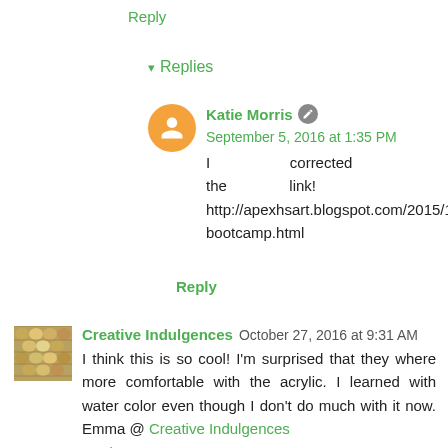Reply
▾ Replies
Katie Morris  September 5, 2016 at 1:35 PM
I corrected the link! http://apexhsart.blogspot.com/2015/11/painting-bootcamp.html
Reply
Creative Indulgences  October 27, 2016 at 9:31 AM
I think this is so cool! I'm surprised that they where more comfortable with the acrylic. I learned with water color even though I don't do much with it now. Emma @ Creative Indulgences
Reply